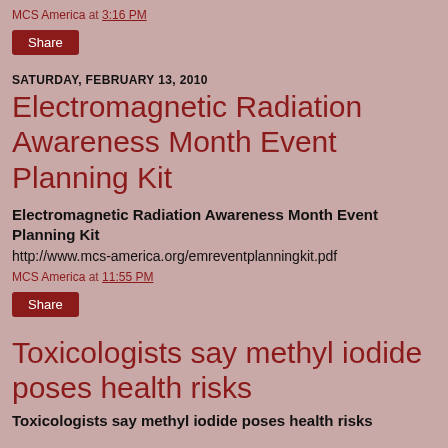MCS America at 3:16 PM
Share
SATURDAY, FEBRUARY 13, 2010
Electromagnetic Radiation Awareness Month Event Planning Kit
Electromagnetic Radiation Awareness Month Event Planning Kit
http://www.mcs-america.org/emreventplanningkit.pdf
MCS America at 11:55 PM
Share
Toxicologists say methyl iodide poses health risks
Toxicologists say methyl iodide poses health risks